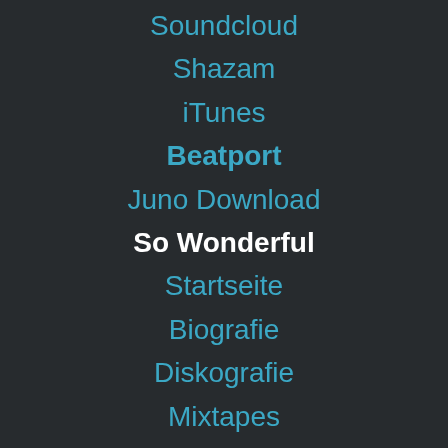Soundcloud
Shazam
iTunes
Beatport
Juno Download
So Wonderful
Startseite
Biografie
Diskografie
Mixtapes
Videos
Neuigkeiten